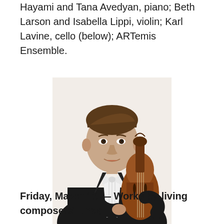Hayami and Tana Avedyan, piano; Beth Larson and Isabella Lippi, violin; Karl Lavine, cello (below); ARTemis Ensemble.
[Figure (photo): A man in a black tuxedo with white bow tie holding a cello, smiling, against a light background.]
Friday, March 19 — Works by living composers Linda